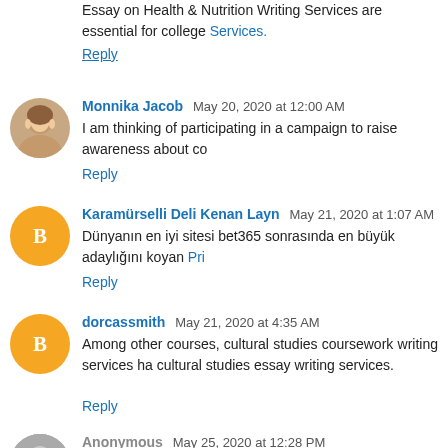Essay on Health & Nutrition Writing Services are essential for college Services.
Reply
Monnika Jacob  May 20, 2020 at 12:00 AM
I am thinking of participating in a campaign to raise awareness about co
Reply
Karamürselli Deli Kenan Layn  May 21, 2020 at 1:07 AM
Dünyanın en iyi sitesi bet365 sonrasında en büyük adaylığını koyan Pri
Reply
dorcassmith  May 21, 2020 at 4:35 AM
Among other courses, cultural studies coursework writing services ha cultural studies essay writing services.
Reply
Anonymous  May 25, 2020 at 12:28 PM